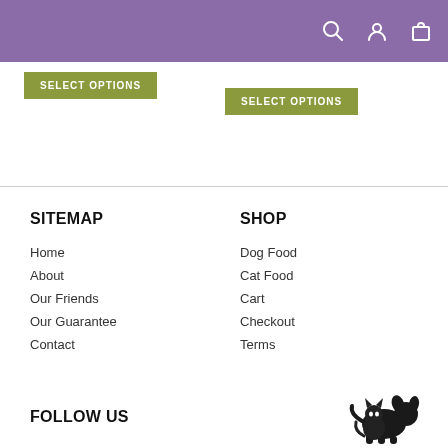Header navigation bar with search, user, and cart icons
SELECT OPTIONS (left button)
SELECT OPTIONS (right button)
SITEMAP
Home
About
Our Friends
Our Guarantee
Contact
SHOP
Dog Food
Cat Food
Cart
Checkout
Terms
FOLLOW US
[Figure (logo): Pet logo illustration showing a dog and cat silhouette]